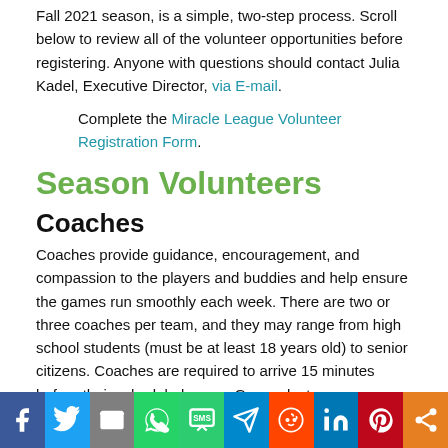Fall 2021 season, is a simple, two-step process. Scroll below to review all of the volunteer opportunities before registering. Anyone with questions should contact Julia Kadel, Executive Director, via E-mail.
Complete the Miracle League Volunteer Registration Form.
Season Volunteers
Coaches
Coaches provide guidance, encouragement, and compassion to the players and buddies and help ensure the games run smoothly each week. There are two or three coaches per team, and they may range from high school students (must be at least 18 years old) to senior citizens. Coaches are required to arrive 15 minutes before their scheduled game. Games last